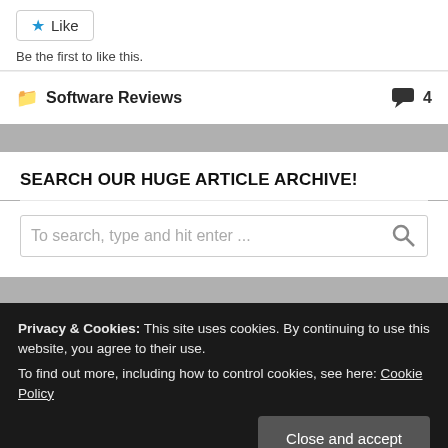[Figure (screenshot): Like button with blue star icon and border]
Be the first to like this.
Software Reviews   4
SEARCH OUR HUGE ARTICLE ARCHIVE!
To search, type and hit enter ...
Privacy & Cookies: This site uses cookies. By continuing to use this website, you agree to their use.
To find out more, including how to control cookies, see here: Cookie Policy
Close and accept
Luminar Neo's new portrait background removal